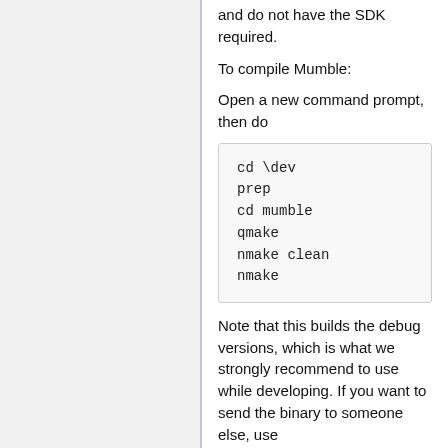and do not have the SDK required.
To compile Mumble:
Open a new command prompt, then do
cd \dev
prep
cd mumble
qmake
nmake clean
nmake
Note that this builds the debug versions, which is what we strongly recommend to use while developing. If you want to send the binary to someone else, use
nmake release